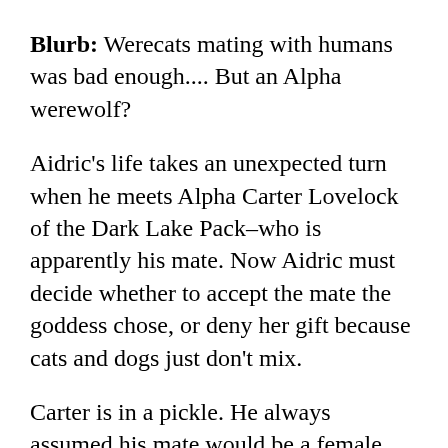Blurb: Werecats mating with humans was bad enough.... But an Alpha werewolf?
Aidric's life takes an unexpected turn when he meets Alpha Carter Lovelock of the Dark Lake Pack–who is apparently his mate. Now Aidric must decide whether to accept the mate the goddess chose, or deny her gift because cats and dogs just don't mix.
Carter is in a pickle. He always assumed his mate would be a female werewolf. How else is Carter supposed to carry on his line and retain Alphaship? When Aidric comes into his life, Carter's ex, Sabrina, isn't giving up easily. He has the Dark Lake pair bonding...